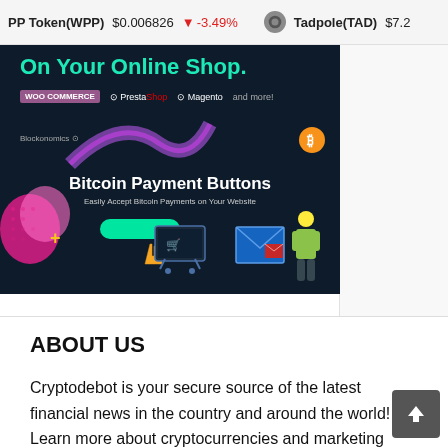PP Token(WPP)  $0.006826  -3.49%  Tadpole(TAD)  $7.2
[Figure (illustration): Blockonomics advertisement banner for Bitcoin Payment Buttons. Dark navy background with teal text 'On Your Online Shop.' showing WooCommerce, PrestaShop, Magento and more logos. Shows 'Bitcoin Payment Buttons' heading with subtitle 'Easily Accept Bitcoin Payments on Your Website', green button, hand pointer, shopping cart, person, and envelope graphics.]
ABOUT US
Cryptodebot is your secure source of the latest financial news in the country and around the world! Learn more about cryptocurrencies and marketing tendencies that